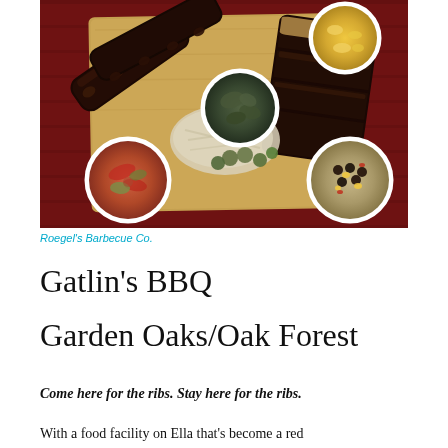[Figure (photo): Overhead shot of a BBQ spread on a wooden cutting board with ribs, brisket slices, and side dishes in round white cups including mac and cheese, collard greens, bean salad, and pickled vegetables, set on a dark red background.]
Roegel's Barbecue Co.
Gatlin's BBQ
Garden Oaks/Oak Forest
Come here for the ribs. Stay here for the ribs.
With a food facility on Ella that's become a red...